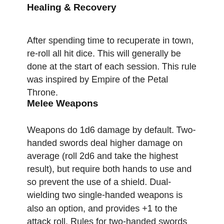Healing & Recovery
After spending time to recuperate in town, re-roll all hit dice. This will generally be done at the start of each session. This rule was inspired by Empire of the Petal Throne.
Melee Weapons
Weapons do 1d6 damage by default. Two-handed swords deal higher damage on average (roll 2d6 and take the highest result), but require both hands to use and so prevent the use of a shield. Dual-wielding two single-handed weapons is also an option, and provides +1 to the attack roll. Rules for two-handed swords and dual-wielding were borrowed from Philotomy (http://www.grey-elf.com/philotomy.pdf).
Burning Oil
Burning oil does 1d6 fire damage and requires the target to